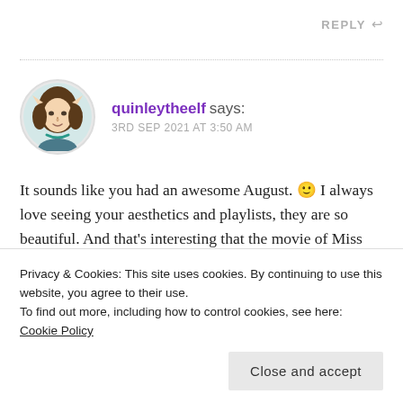REPLY ↩
[Figure (illustration): Circular avatar of an elf character with brown hair, pointed ears, and a teal necklace, illustrated in a sketch style]
quinleytheelf says:
3RD SEP 2021 AT 3:50 AM
It sounds like you had an awesome August. 🙂 I always love seeing your aesthetics and playlists, they are so beautiful. And that's interesting that the movie of Miss Peregrine's Home for Peculiar Chil...
Privacy & Cookies: This site uses cookies. By continuing to use this website, you agree to their use.
To find out more, including how to control cookies, see here: Cookie Policy
Close and accept